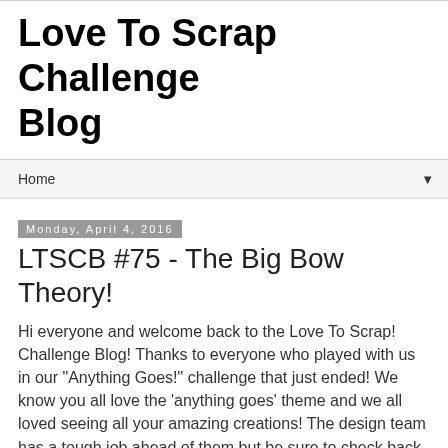Love To Scrap Challenge Blog
Home
Monday, April 4, 2016
LTSCB #75 - The Big Bow Theory!
Hi everyone and welcome back to the Love To Scrap! Challenge Blog! Thanks to everyone who played with us in our "Anything Goes!" challenge that just ended! We know you all love the 'anything goes' theme and we all loved seeing all your amazing creations! The design team has a tough job ahead of them but be sure to check back Wednesday for our Winners and DT Favorites (Top 5)!
Okay, are you ready?! Our theme this time is...
The Big Bow Theory!